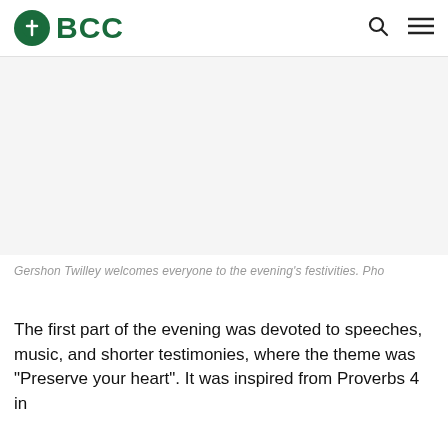BCC
[Figure (photo): Image area showing Gershon Twilley welcoming everyone to the evening's festivities]
Gershon Twilley welcomes everyone to the evening's festivities. Pho
The first part of the evening was devoted to speeches, music, and shorter testimonies, where the theme was "Preserve your heart". It was inspired from Proverbs 4 in